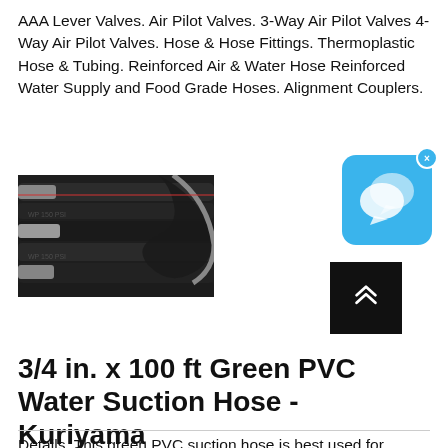AAA Lever Valves. Air Pilot Valves. 3-Way Air Pilot Valves 4-Way Air Pilot Valves. Hose & Hose Fittings. Thermoplastic Hose & Tubing. Reinforced Air & Water Hose Reinforced Water Supply and Food Grade Hoses. Alignment Couplers.
[Figure (photo): Black hydraulic hoses with metal fittings and connectors]
[Figure (screenshot): Chat/messaging app widget with blue background and speech bubble icon, with X close button]
[Figure (other): Black scroll-to-top button with double chevron up arrow]
3/4 in. x 100 ft Green PVC Water Suction Hose - Kuriyama
Details. This green PVC suction hose is best used for